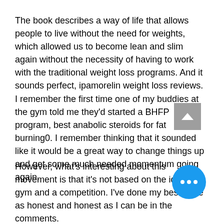The book describes a way of life that allows people to live without the need for weights, which allowed us to become lean and slim again without the necessity of having to work with the traditional weight loss programs. And it sounds perfect, ipamorelin weight loss reviews. I remember the first time one of my buddies at the gym told me they'd started a BHFP program, best anabolic steroids for fat burning0. I remember thinking that it sounded like it would be a great way to change things up and get some much needed momentum going again.
However, what's interesting about this movement is that it's not based on the idea of a gym and a competition. I've done my best to be as honest and honest as I can be in the comments.
[Figure (other): Scroll-up button (grey square with white upward arrow) and a blue circular more-options button with three white dots]